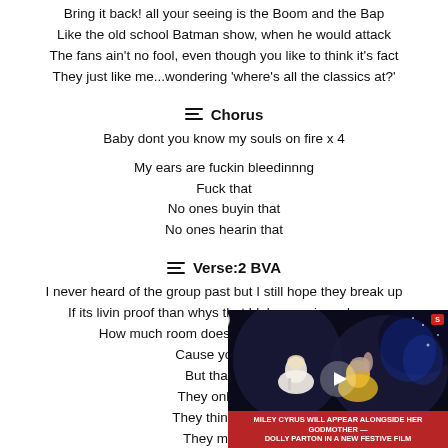Bring it back! all your seeing is the Boom and the Bap
Like the old school Batman show, when he would attack
The fans ain't no fool, even though you like to think it's fact
They just like me...wondering 'where's all the classics at?'
Chorus
Baby dont you know my souls on fire x 4
My ears are fuckin bleedinnng
Fuck that
No ones buyin that
No ones hearin that
Verse:2 BVA
I never heard of the group past but I still hope they break up
If its livin proof than whys that bloke wearin make up
How much room does youre head take up
Cause you keep [partially obscured]
But thats just [partially obscured]
They only sell it [partially obscured]
They think theyre [partially obscured]
They must be [partially obscured]
I pride myself in scribin trac [partially obscured]
[Figure (screenshot): Embedded video player showing two women on stage, with red caption bar reading 'MILEY CYRUS WILL APPEAR ALONGSIDE HER GODMOTHER — DOLLY PARTON IN A NEW FESTIVE FILM', with a play button and news channel logo]